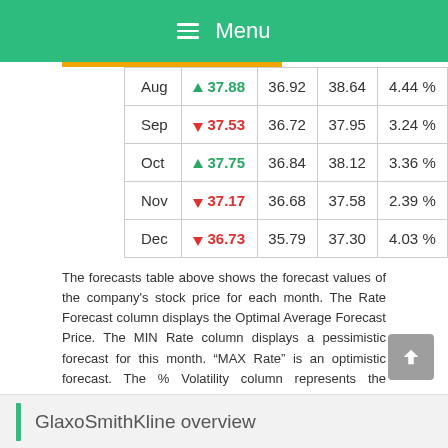Menu
|  | Rate Forecast | MIN Rate | MAX Rate | % Volatility |
| --- | --- | --- | --- | --- |
| Aug | ▲ 37.88 | 36.92 | 38.64 | 4.44 % |
| Sep | ▼ 37.53 | 36.72 | 37.95 | 3.24 % |
| Oct | ▲ 37.75 | 36.84 | 38.12 | 3.36 % |
| Nov | ▼ 37.17 | 36.68 | 37.58 | 2.39 % |
| Dec | ▼ 36.73 | 35.79 | 37.30 | 4.03 % |
The forecasts table above shows the forecast values of the company's stock price for each month. The Rate Forecast column displays the Optimal Average Forecast Price. The MIN Rate column displays a pessimistic forecast for this month. “MAX Rate” is an optimistic forecast. The % Volatility column represents the approximate monthly volatility of GlaxoSmithKline stock.
GlaxoSmithKline overview